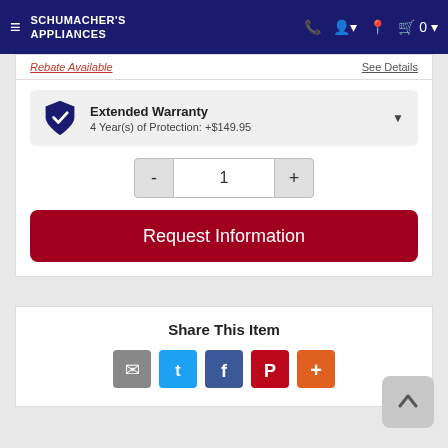Schumacher's Appliances
Rebate Available
See Details
Extended Warranty
4 Year(s) of Protection: +$149.95
1
Request Information
Share This Item
[Figure (infographic): Social sharing icons: email (gray), Twitter (blue), Facebook (blue), Pinterest (red), More (orange-red)]